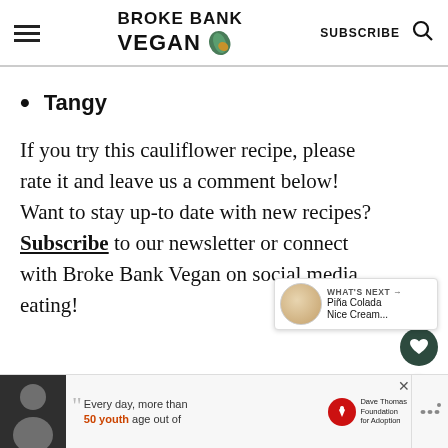BROKE BANK VEGAN — SUBSCRIBE
Tangy
If you try this cauliflower recipe, please rate it and leave us a comment below! Want to stay up-to-date with new recipes? Subscribe to our newsletter or connect with Broke Bank Vegan on social media. Happy eating!
[Figure (other): Advertisement banner: Dave Thomas Foundation for Adoption — Every day, more than 50 youth age out of foster care]
[Figure (other): What's Next overlay card showing Piña Colada Nice Cream thumbnail]